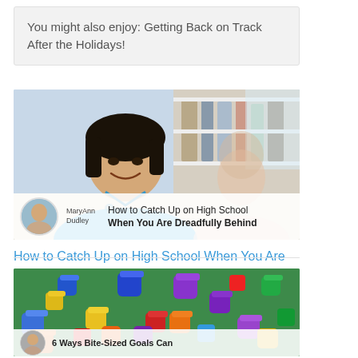You might also enjoy: Getting Back on Track After the Holidays!
[Figure (photo): A smiling Asian teenage girl in a blue polo shirt sitting at a desk, with another student blurred in the background in what appears to be a classroom or library setting. An author avatar of MaryAnn Dudley and article title overlay at the bottom.]
How to Catch Up on High School When You Are Dreadfully Behind
5 years ago
[Figure (photo): Colorful wooden blocks scattered on a green surface, with a partial author avatar and article title overlay at the bottom reading '6 Ways Bite-Sized Goals Can...']